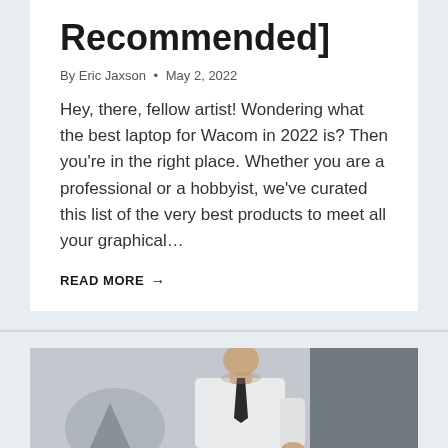Recommended]
By Eric Jaxson • May 2, 2022
Hey, there, fellow artist! Wondering what the best laptop for Wacom in 2022 is? Then you're in the right place. Whether you are a professional or a hobbyist, we've curated this list of the very best products to meet all your graphical…
READ MORE →
[Figure (photo): Man in white shirt and black tie, appears to be a professional person, photographed from mid-torso up against a grey background]